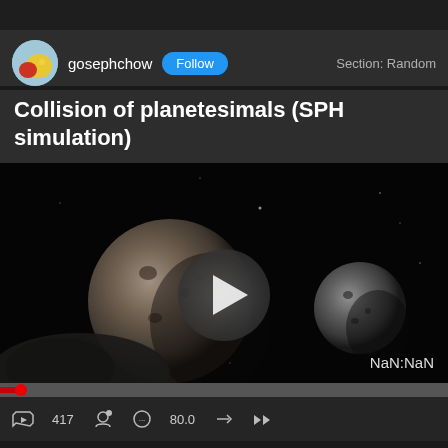gosephchow   Follow   Section: Random
Collision of planetesimals (SPH simulation)
[Figure (screenshot): Video player showing two rocky planetesimals (moons/asteroids) in space against a black background, with a semi-transparent play button overlay in the center. A smaller rocky body is visible on the right side. Text 'NaN:NaN' appears in the bottom-right corner, indicating a video duration display error.]
NaN:NaN
417   80.0